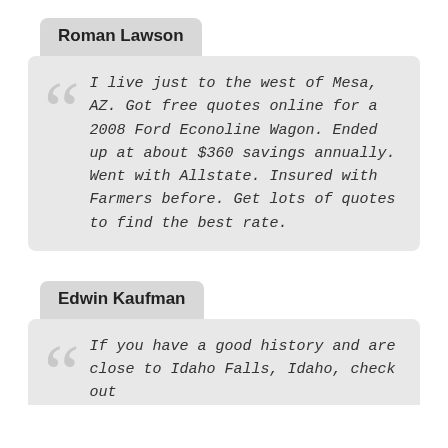Roman Lawson
I live just to the west of Mesa, AZ. Got free quotes online for a 2008 Ford Econoline Wagon. Ended up at about $360 savings annually. Went with Allstate. Insured with Farmers before. Get lots of quotes to find the best rate.
Edwin Kaufman
If you have a good history and are close to Idaho Falls, Idaho, check out